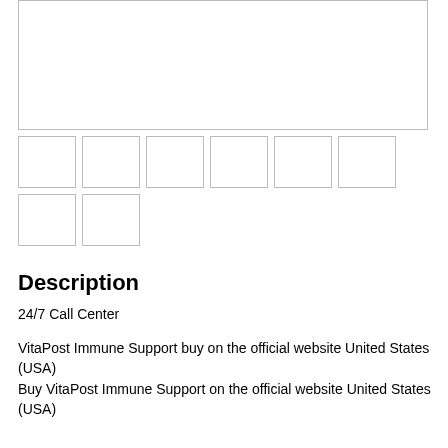[Figure (other): Main product image area (large empty outlined box)]
[Figure (other): Row of 6 thumbnail image boxes]
[Figure (other): Row of 2 thumbnail image boxes]
Description
24/7 Call Center
VitaPost Immune Support buy on the official website United States (USA)
Buy VitaPost Immune Support on the official website United States (USA)